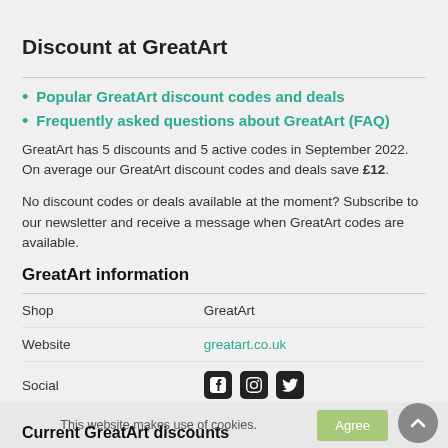Discount at GreatArt
Popular GreatArt discount codes and deals
Frequently asked questions about GreatArt (FAQ)
GreatArt has 5 discounts and 5 active codes in September 2022. On average our GreatArt discount codes and deals save £12.
No discount codes or deals available at the moment? Subscribe to our newsletter and receive a message when GreatArt codes are available.
GreatArt information
|  |  |
| --- | --- |
| Shop | GreatArt |
| Website | greatart.co.uk |
| Social | [icons] |
| B2B Support | Is this your company? |
This website makes use of cookies.  Agree
Current GreatArt discounts